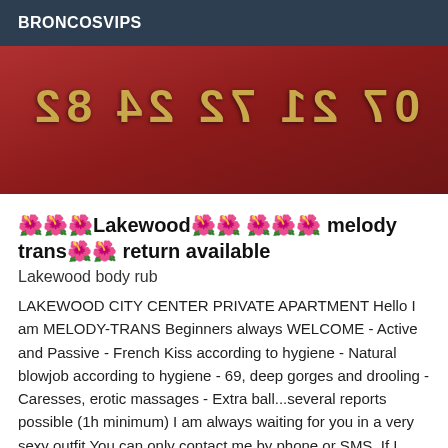BRONCOSVIPS
[Figure (photo): Mirrored phone number on a red carpet background with high heels visible]
🌺🌺🌺Lakewood🌺🌺 🌺🌺🌺 melody trans🌺🌺 return available
Lakewood body rub
LAKEWOOD CITY CENTER PRIVATE APARTMENT Hello I am MELODY-TRANS Beginners always WELCOME - Active and Passive - French Kiss according to hygiene - Natural blowjob according to hygiene - 69, deep gorges and drooling - Caresses, erotic massages - Extra ball...several reports possible (1h minimum) I am always waiting for you in a very sexy outfit You can only contact me by phone or SMS. If I don't answer you, it's because I'm busy. I never answer